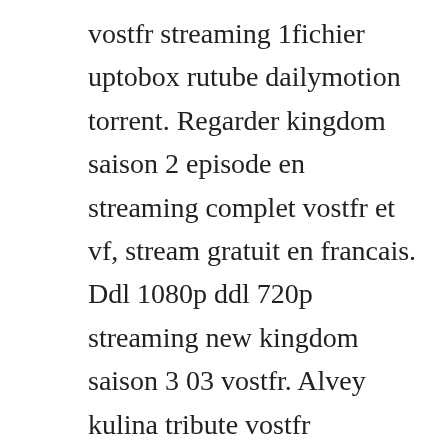vostfr streaming 1fichier uptobox rutube dailymotion torrent. Regarder kingdom saison 2 episode en streaming complet vostfr et vf, stream gratuit en francais. Ddl 1080p ddl 720p streaming new kingdom saison 3 03 vostfr. Alvey kulina tribute vostfr motivation kingdom serie duration. Serie kingdom saison 2 episode complete en streaming vf et. Kono subarashii sekai ni shukufuku wo s1 06 vostfr. Winchester celebrates aethelred and aethelflaeds wedding, but the festivities are shortlived as the clouds of war gather and